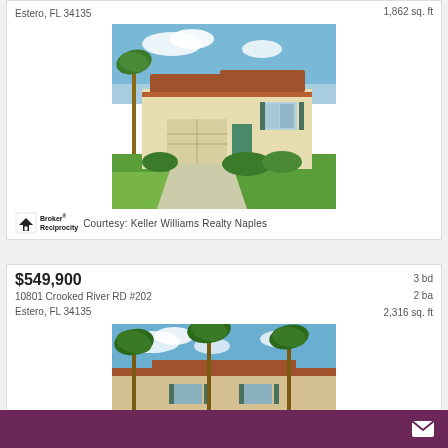Estero, FL 34135 | 1,862 sq. ft
[Figure (photo): Single-story Florida home with tan stucco exterior, red tile roof, two-car garage, palm trees and lush landscaping]
Courtesy: Keller Williams Realty Naples
$549,900 | 3 bd | 2 ba | 2,316 sq. ft
10801 Crooked River RD #202
Estero, FL 34135
[Figure (photo): Multi-story Florida condo building with tan stucco, red tile roof and palm trees under blue sky]